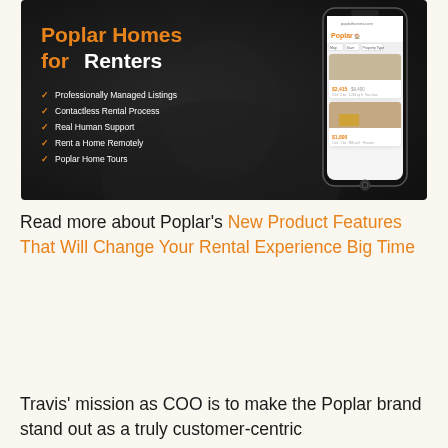[Figure (infographic): Poplar Homes for Renters banner ad with dark background, orange and white title text, five checkmark bullet points, and a phone mockup on the right showing the Poplar Homes app]
Read more about Poplar's New Product Features That Will Change Your Rental Experience Big Time
Travis' mission as COO is to make the Poplar brand stand out as a truly customer-centric